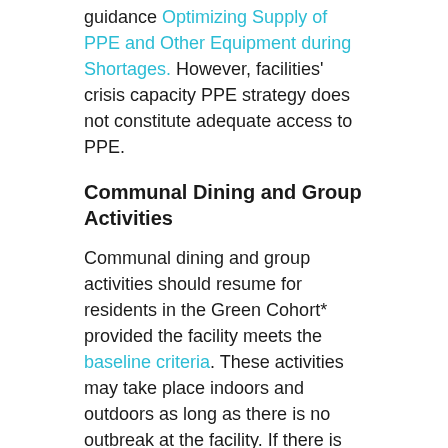guidance Optimizing Supply of PPE and Other Equipment during Shortages. However, facilities' crisis capacity PPE strategy does not constitute adequate access to PPE.
Communal Dining and Group Activities
Communal dining and group activities should resume for residents in the Green Cohort* provided the facility meets the baseline criteria. These activities may take place indoors and outdoors as long as there is no outbreak at the facility. If there is an outbreak at the facility, only outdoor activities are permitted. Facilities must continue to follow all infection prevention and control measures to conduct communal dining and group activities safely.
* If there is no outbreak in the facility, the following residents in the Yellow Cohort may follow the Green Cohort permissions for communal dining and